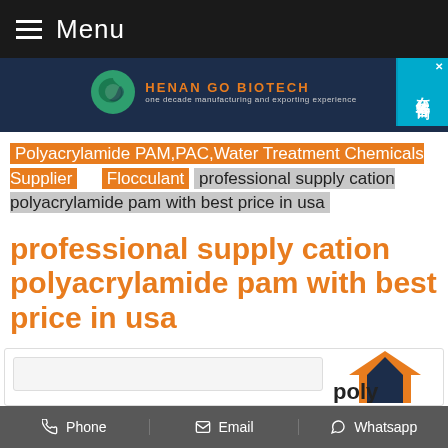≡ Menu
[Figure (logo): Henan Go Biotech logo with green circular icon, orange company name and gray tagline 'one decade manufacturing and exporting experience'. Chinese chat widget on right side.]
Polyacrylamide PAM,PAC,Water Treatment Chemicals Supplier | Flocculant   professional supply cation polyacrylamide pam with best price in usa
professional supply cation polyacrylamide pam with best price in usa
Phone   Email   Whatsapp